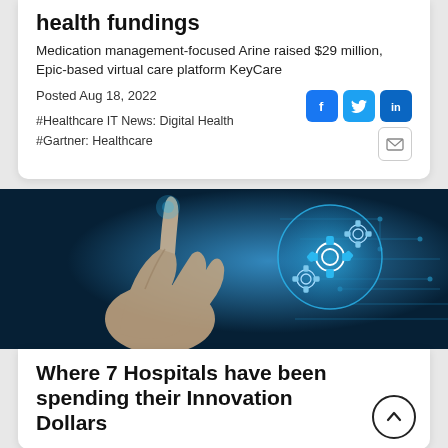health fundings
Medication management-focused Arine raised $29 million, Epic-based virtual care platform KeyCare
Posted Aug 18, 2022
#Healthcare IT News: Digital Health
#Gartner: Healthcare
[Figure (photo): A hand pointing at a glowing blue digital interface with gear icons and circuit board patterns, representing healthcare technology]
Where 7 Hospitals have been spending their Innovation Dollars